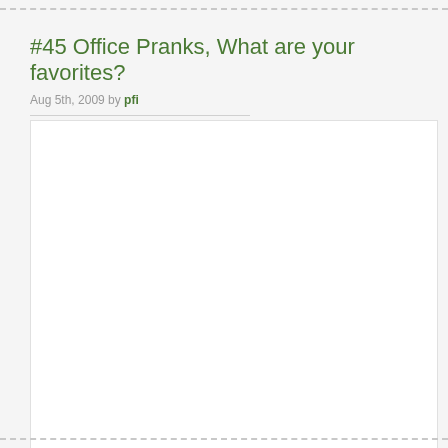#45 Office Pranks, What are your favorites?
Aug 5th, 2009 by pfi